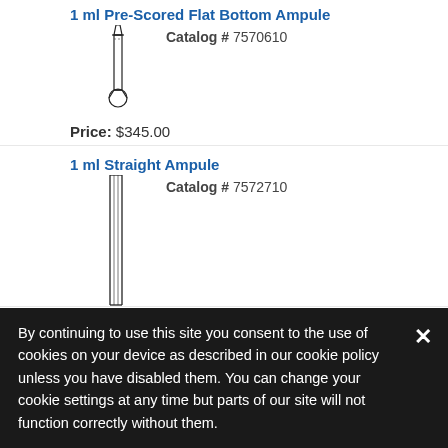1 ml Pre-Scored Flat Bottom Ampule
Catalog # 7570610
[Figure (illustration): Illustration of a 1 ml Pre-Scored Flat Bottom Ampule — a narrow glass ampule with a scored neck and rounded bottom]
Price: $345.00
1 ml Straight Ampule
Catalog # 7572710
[Figure (illustration): Illustration of a 1 ml Straight Ampule — a tall narrow straight glass ampule with parallel sides]
Price: $810.00
10 ml Pre-Scored Flat Bottom Ampule
By continuing to use this site you consent to the use of cookies on your device as described in our cookie policy unless you have disabled them. You can change your cookie settings at any time but parts of our site will not function correctly without them.